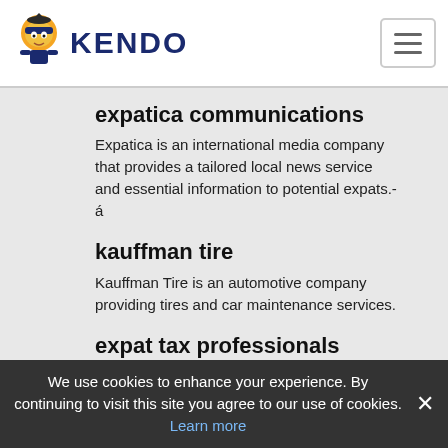KENDO
expatica communications
Expatica is an international media company that provides a tailored local news service and essential information to potential expats.-á
kauffman tire
Kauffman Tire is an automotive company providing tires and car maintenance services.
expat tax professionals
Navigating your U.S. tax filing obligations. We provide , expert expatriate tax services at affordable prices.
simply mac - apple premier partner
Simply Mac brings the Apple experience to your local area.
We use cookies to enhance your experience. By continuing to visit this site you agree to our use of cookies. Learn more